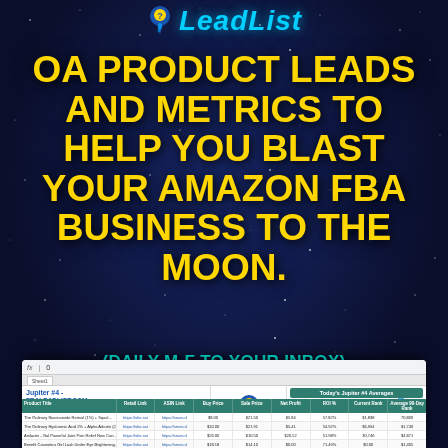[Figure (logo): FBA LeadList logo with rocket/pin icon and cyan italic text 'LeadList']
OA PRODUCT LEADS AND METRICS TO HELP YOU BLAST YOUR AMAZON FBA BUSINESS TO THE MOON.
(DAILY M-F TO YOUR INBOX)
[Figure (screenshot): Screenshot of a spreadsheet showing Jupiter #4 FBA LeadList report with product leads table, FBA LeadList logo, and Today's Jupiter #4 Averages box showing Buy Price $24.28, Current Rank 54,015, Sale Price $37.73, 90 Day Rank 68,334, Net Profit $20.28, ROI% 79.69%]